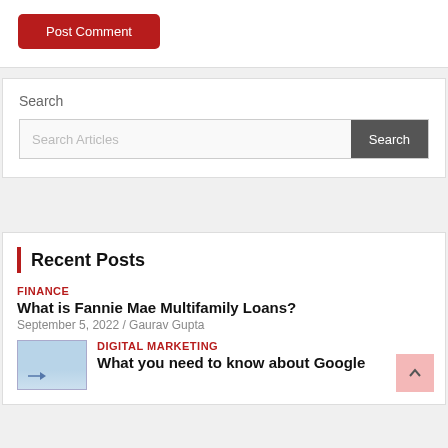Post Comment
Search
Search Articles
Search
Recent Posts
FINANCE
What is Fannie Mae Multifamily Loans?
September 5, 2022 / Gaurav Gupta
DIGITAL MARKETING
What you need to know about Google